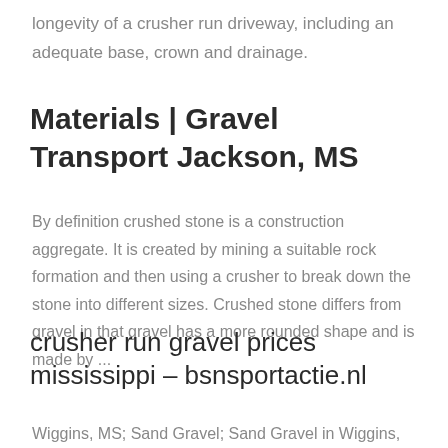longevity of a crusher run driveway, including an adequate base, crown and drainage.
Materials | Gravel Transport Jackson, MS
By definition crushed stone is a construction aggregate. It is created by mining a suitable rock formation and then using a crusher to break down the stone into different sizes. Crushed stone differs from gravel in that gravel has a more rounded shape and is made by ...
crusher run gravel prices mississippi – bsnsportactie.nl
Wiggins, MS; Sand Gravel; Sand Gravel in Wiggins, MS,